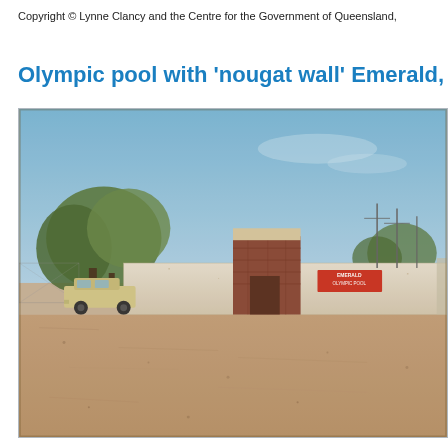Copyright © Lynne Clancy and the Centre for the Government of Queensland,
Olympic pool with 'nougat wall' Emerald, 1966
[Figure (photo): A vintage 1966 colour photograph showing the exterior of the Emerald Olympic Pool. A long low white rendered wall (the 'nougat wall') stretches across the middle ground, with a taller brick entrance block visible. A sign reading 'Emerald Olympic Pool' is visible on the wall. A station wagon car is parked to the left. Large eucalyptus trees are visible behind the building against a blue sky. The foreground is a large expanse of reddish-brown dirt/gravel.]